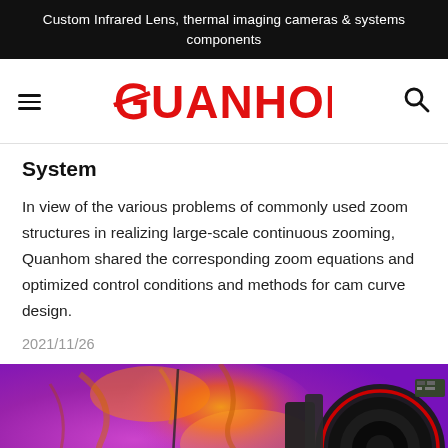Custom Infrared Lens, thermal imaging cameras & systems components
[Figure (logo): Quanhom logo in red with hamburger menu icon on left and search icon on right]
System
In view of the various problems of commonly used zoom structures in realizing large-scale continuous zooming, Quanhom shared the corresponding zoom equations and optimized control conditions and methods for cam curve design.
2021/11/26
[Figure (photo): Thermal infrared camera lens photo with purple/orange thermal imaging background showing branches and a black camera lens with red stripe on the right side]